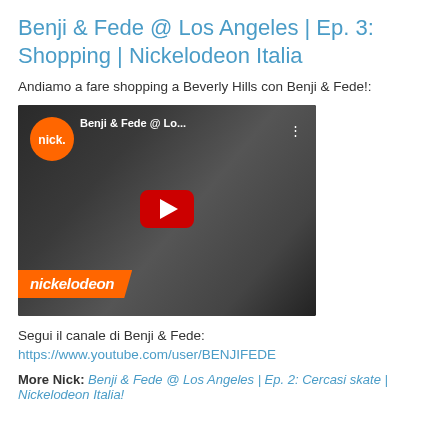Benji & Fede @ Los Angeles | Ep. 3: Shopping | Nickelodeon Italia
Andiamo a fare shopping a Beverly Hills con Benji & Fede!:
[Figure (screenshot): YouTube video thumbnail for Benji & Fede @ Los Angeles episode, showing two young men, with Nickelodeon branding, orange Nick logo, red YouTube play button, and Nickelodeon orange banner at the bottom.]
Segui il canale di Benji & Fede:
https://www.youtube.com/user/BENJIFEDE
More Nick: Benji & Fede @ Los Angeles | Ep. 2: Cercasi skate | Nickelodeon Italia!